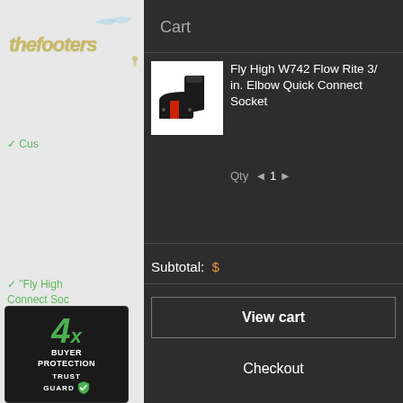[Figure (screenshot): Left portion of website showing TheFooter logo, checkmark items, sale badge, and TrustGuard 4x Buyer Protection badge]
Cart
[Figure (photo): Product image of Fly High W742 Flow Rite elbow quick connect socket - black and red plumbing fitting]
Fly High W742 Flow Rite 3/ in. Elbow Quick Connect Socket
Qty ◄ 1 ►
Subtotal:
View cart
Checkout